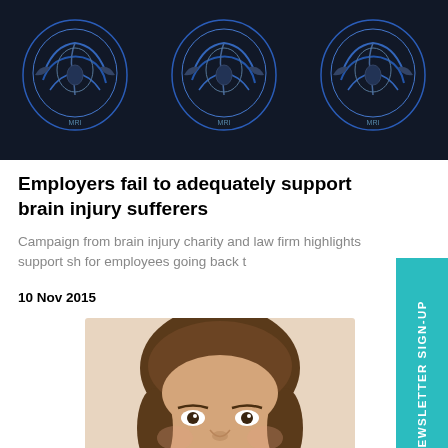[Figure (photo): Banner image showing multiple brain MRI scans on a dark background]
Employers fail to adequately support brain injury sufferers
Campaign from brain injury charity and law firm highlights support sh for employees going back t
10 Nov 2015
[Figure (photo): Portrait photo of a man in a suit, smiling, with brown hair]